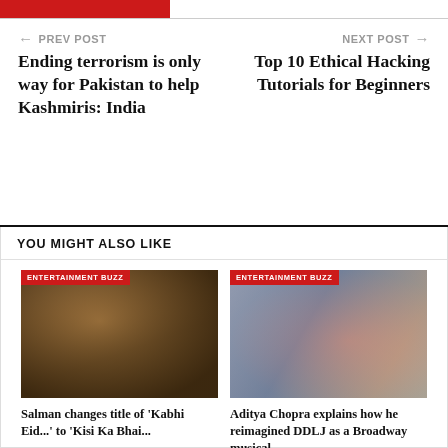← PREV POST
NEXT POST →
Ending terrorism is only way for Pakistan to help Kashmiris: India
Top 10 Ethical Hacking Tutorials for Beginners
YOU MIGHT ALSO LIKE
[Figure (photo): Close-up dark photo of a man with long hair and sunglasses (Salman Khan)]
ENTERTAINMENT BUZZ
Salman changes title of 'Kabhi Eid...' to 'Kisi Ka Bhai...
[Figure (photo): People dancing on a stage or rehearsal space for a Broadway-style performance]
ENTERTAINMENT BUZZ
Aditya Chopra explains how he reimagined DDLJ as a Broadway musical